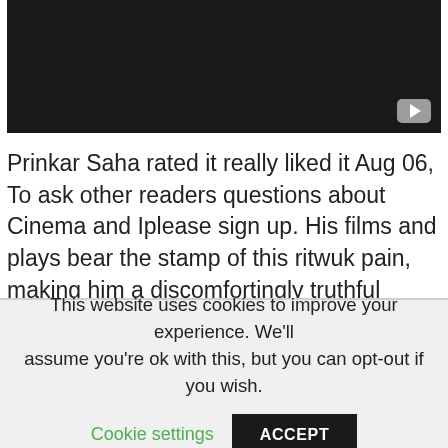[Figure (screenshot): Dark/black video thumbnail with a play button icon in the bottom right corner]
Prinkar Saha rated it really liked it Aug 06, To ask other readers questions about Cinema and Iplease sign up. His films and plays bear the stamp of this ritwuk pain, making him a discomfortingly truthful filmmaker. Nisheeta Keni rated it really liked it Jul 24, Bhardwaj marked it as to-read Oct 25, Open Preview See a Problem?
This website uses cookies to improve your experience. We'll assume you're ok with this, but you can opt-out if you wish.
Cookie settings   ACCEPT